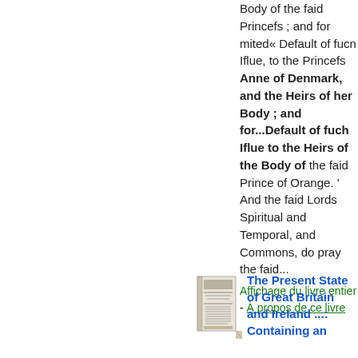Body of the faid Princefs ; and for mited« Default of fucn Iflue, to the Princefs Anne of Denmark, and the Heirs of her Body ; and for...Default of fuch Iflue to the Heirs of the Body of the faid Prince of Orange. ' And the faid Lords Spiritual and Temporal, and Commons, do pray the faid...
Affichage du livre entier - À propos de ce livre
[Figure (illustration): Small thumbnail image of a book cover titled 'The Present State of Great Britain and Ireland']
The Present State of Great Britain and Ireland ...: Containing an